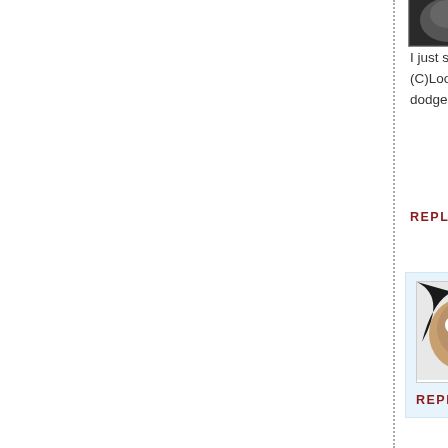I just saw on th (C)Looney just dodged a bulle
REPLY
[Figure (photo): Avatar image of a monkey/animal with dark wings background]
La Se Fr
REPLY
[Figure (photo): Avatar image showing a bright explosion/fireball on dark background]
Mark12A says: September 23, 20
Don't be such splashes on yo
REPLY